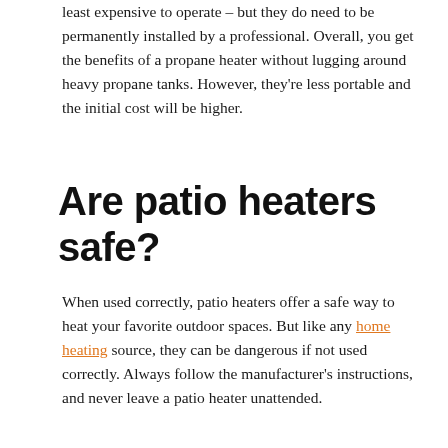least expensive to operate – but they do need to be permanently installed by a professional. Overall, you get the benefits of a propane heater without lugging around heavy propane tanks. However, they're less portable and the initial cost will be higher.
Are patio heaters safe?
When used correctly, patio heaters offer a safe way to heat your favorite outdoor spaces. But like any home heating source, they can be dangerous if not used correctly. Always follow the manufacturer's instructions, and never leave a patio heater unattended.